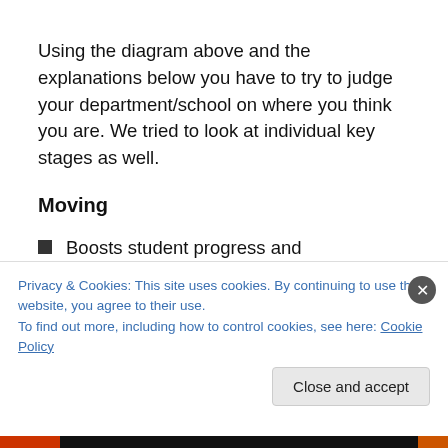Using the diagram above and the explanations below you have to try to judge your department/school on where you think you are. We tried to look at individual key stages as well.
Moving
Boosts student progress and achievement.
People work together and respond to change.
People know where they are going and have the will
Privacy & Cookies: This site uses cookies. By continuing to use this website, you agree to their use.
To find out more, including how to control cookies, see here: Cookie Policy
Close and accept